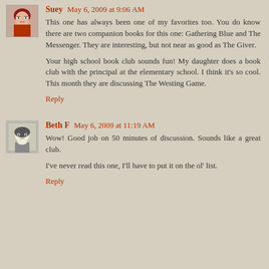[Figure (photo): Avatar photo of Suey - woman with glasses and red top]
Suey May 6, 2009 at 9:06 AM
This one has always been one of my favorites too. You do know there are two companion books for this one: Gathering Blue and The Messenger. They are interesting, but not near as good as The Giver.

Your high school book club sounds fun! My daughter does a book club with the principal at the elementary school. I think it's so cool. This month they are discussing The Westing Game.
Reply
[Figure (illustration): Avatar illustration of Beth F - black and white sketch style portrait]
Beth F May 6, 2009 at 11:19 AM
Wow! Good job on 50 minutes of discussion. Sounds like a great club.

I've never read this one, I'll have to put it on the ol' list.
Reply